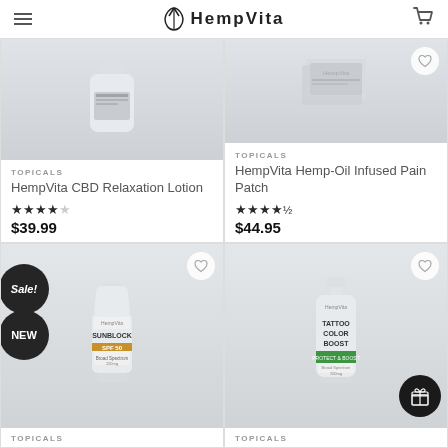HempVita
[Figure (photo): HempVita CBD Relaxation Lotion product image on grey background]
TOPICALS
HempVita CBD Relaxation Lotion
★★★★☆ $39.99
[Figure (photo): HempVita Hemp-Oil Infused Pain Patch product image on grey background]
TOPICALS
HempVita Hemp-Oil Infused Pain Patch
★★★★½ $44.95
[Figure (photo): HempVita Sunblock product image with Sale! and NEW badges on grey background]
TOPICALS
[Figure (photo): HempVita Tattoo Color Boost product image on grey background]
TOPICALS